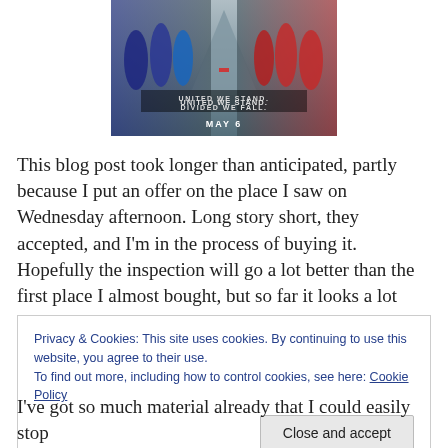[Figure (photo): Movie poster for Captain America: Civil War showing heroes facing off with text 'UNITED WE STAND. DIVIDED WE FALL.' and 'MAY 6']
This blog post took longer than anticipated, partly because I put an offer on the place I saw on Wednesday afternoon. Long story short, they accepted, and I'm in the process of buying it. Hopefully the inspection will go a lot better than the first place I almost bought, but so far it looks a lot
Privacy & Cookies: This site uses cookies. By continuing to use this website, you agree to their use.
To find out more, including how to control cookies, see here: Cookie Policy
I've got so much material already that I could easily stop